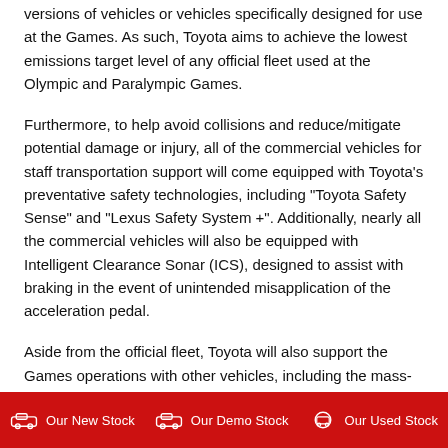versions of vehicles or vehicles specifically designed for use at the Games. As such, Toyota aims to achieve the lowest emissions target level of any official fleet used at the Olympic and Paralympic Games.
Furthermore, to help avoid collisions and reduce/mitigate potential damage or injury, all of the commercial vehicles for staff transportation support will come equipped with Toyota's preventative safety technologies, including "Toyota Safety Sense" and "Lexus Safety System +". Additionally, nearly all the commercial vehicles will also be equipped with Intelligent Clearance Sonar (ICS), designed to assist with braking in the event of unintended misapplication of the acceleration pedal.
Aside from the official fleet, Toyota will also support the Games operations with other vehicles, including the mass-
Our New Stock   Our Demo Stock   Our Used Stock